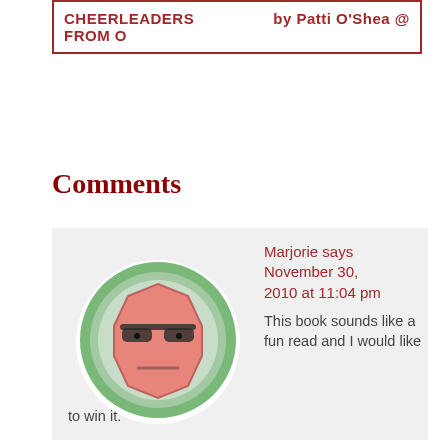CHEERLEADERS FROM O   by Patti O'Shea @
Comments
[Figure (illustration): Circular avatar icon with a cartoon face wearing sunglasses, set on a green circular background with white shadow effect.]
Marjorie says November 30, 2010 at 11:04 pm

This book sounds like a fun read and I would like to win it.